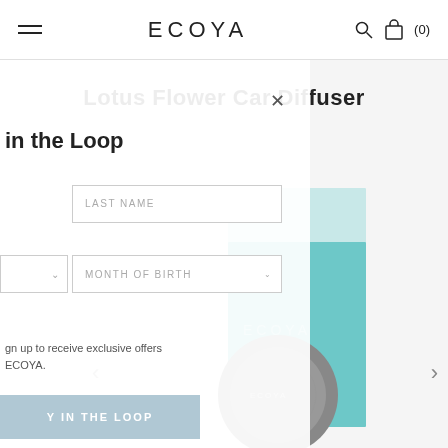ECOYA
Lotus Flower Car Diffuser
[Figure (photo): Ecoya Lotus Flower Car Diffuser product image showing teal/mint packaging box and a circular grey diffuser disc with ECOYA branding]
in the Loop
LAST NAME
MONTH OF BIRTH
gn up to receive exclusive offers ECOYA.
Y IN THE LOOP